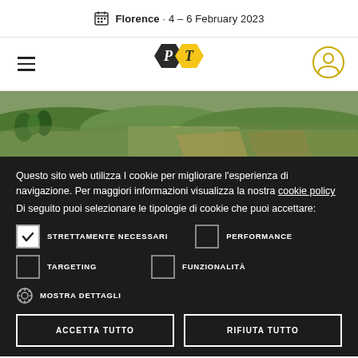Florence · 4 – 6 February 2023
[Figure (logo): PT hexagon logo with black P and yellow T hexagons]
[Figure (photo): Aerial landscape photo of Tuscan hills with green fields]
Questo sito web utilizza I cookie per migliorare l'esperienza di navigazione. Per maggiori informazioni visualizza la nostra cookie policy
Di seguito puoi selezionare le tipologie di cookie che puoi accettare:
STRETTAMENTE NECESSARI (checked)
PERFORMANCE (unchecked)
TARGETING (unchecked)
FUNZIONALITÀ (unchecked)
MOSTRA DETTAGLI
ACCETTA TUTTO
RIFIUTA TUTTO